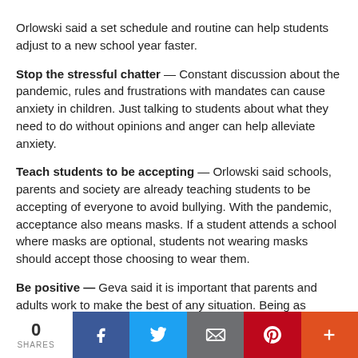Orlowski said a set schedule and routine can help students adjust to a new school year faster.
Stop the stressful chatter — Constant discussion about the pandemic, rules and frustrations with mandates can cause anxiety in children. Just talking to students about what they need to do without opinions and anger can help alleviate anxiety.
Teach students to be accepting — Orlowski said schools, parents and society are already teaching students to be accepting of everyone to avoid bullying. With the pandemic, acceptance also means masks. If a student attends a school where masks are optional, students not wearing masks should accept those choosing to wear them.
Be positive — Geva said it is important that parents and adults work to make the best of any situation. Being as positive as possible can make a difference, she said. Students should be assured they are not alone, Geva stressed. Others are going through the same thing.